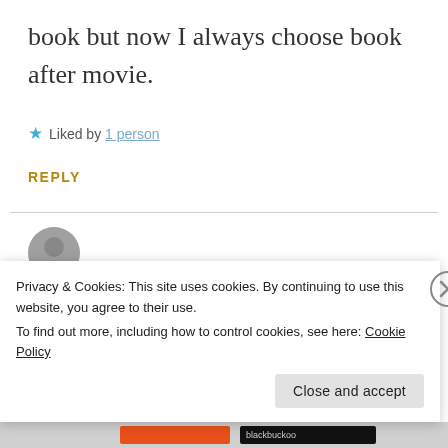book but now I always choose book after movie.
★ Liked by 1 person
REPLY
[Figure (photo): Circular avatar/profile photo partially visible at bottom of page]
Privacy & Cookies: This site uses cookies. By continuing to use this website, you agree to their use.
To find out more, including how to control cookies, see here: Cookie Policy
Close and accept